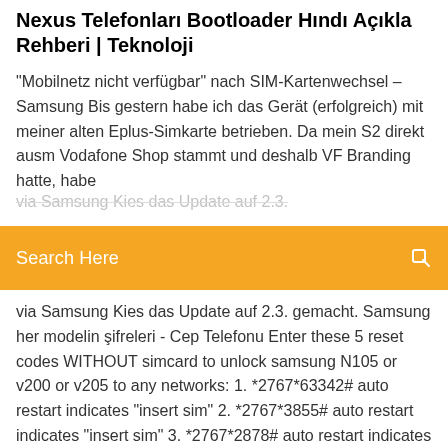Nexus Telefonları Bootloader Hındı Açıkla Rehberi | Teknoloji
"Mobilnetz nicht verfügbar" nach SIM-Kartenwechsel – Samsung Bis gestern habe ich das Gerät (erfolgreich) mit meiner alten Eplus-Simkarte betrieben. Da mein S2 direkt ausm Vodafone Shop stammt und deshalb VF Branding hatte, habe
[Figure (screenshot): Orange search bar with text 'Search Here' and a search icon on the right]
via Samsung Kies das Update auf 2.3. gemacht. Samsung her modelin şifreleri - Cep Telefonu Enter these 5 reset codes WITHOUT simcard to unlock samsung N105 or v200 or v205 to any networks: 1. *2767*63342# auto restart indicates "insert sim" 2. *2767*3855# auto restart indicates "insert sim" 3. *2767*2878# auto restart indicates "insert sim" 4. *2767*927# auto restart indicates "insert sim" Samsung Galaxy S6 &mdash; Sim-Karte wird nicht mehr erkannt - nur Wollte heute Morgen mein S6 wieder anschalten. Es ging keine PW Abfrage mehr, ich kam nicht ins Menü und es sagte mir Kein Netz, also in den